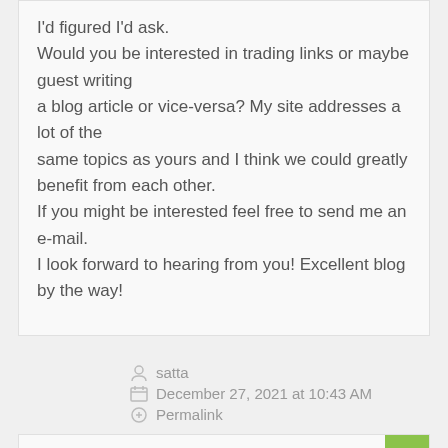I'd figured I'd ask. Would you be interested in trading links or maybe guest writing a blog article or vice-versa? My site addresses a lot of the same topics as yours and I think we could greatly benefit from each other. If you might be interested feel free to send me an e-mail. I look forward to hearing from you! Excellent blog by the way!
satta
December 27, 2021 at 10:43 AM
Permalink
When some one searches for his necessary thing, therefore he/she needs to